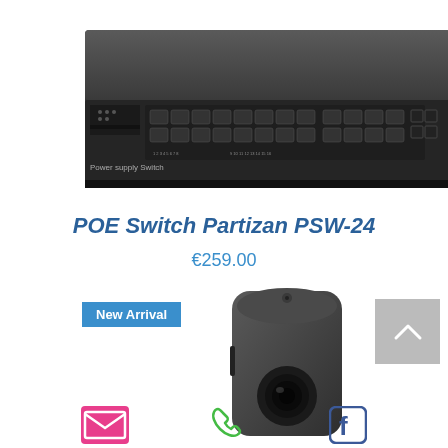[Figure (photo): Front view of a POE Switch Partizan PSW-24 network switch with multiple ethernet ports]
POE Switch Partizan PSW-24
€259.00
[Figure (photo): Security camera close-up photo with New Arrival badge]
[Figure (other): Social media and contact icons: email, phone, facebook]